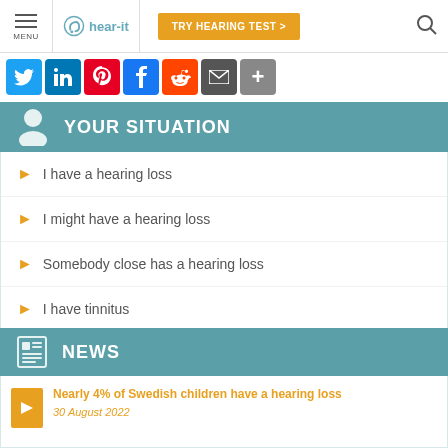MENU | hear-it | TRY HEARING TEST >
[Figure (other): Social sharing icons: Twitter, LinkedIn, Pinterest, Facebook, Reddit, Email, More]
YOUR SITUATION
I have a hearing loss
I might have a hearing loss
Somebody close has a hearing loss
I have tinnitus
My child has hearing loss
NEWS
Nearly 4% of Swedish children have a hearing loss
30 August 2022